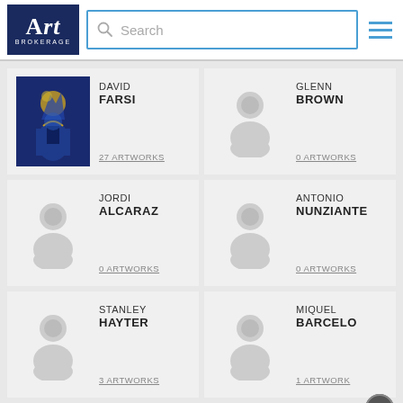[Figure (screenshot): Art Brokerage website header with logo, search bar, and hamburger menu]
DAVID
FARSI
27 ARTWORKS
GLENN
BROWN
0 ARTWORKS
JORDI
ALCARAZ
0 ARTWORKS
ANTONIO
NUNZIANTE
0 ARTWORKS
STANLEY
HAYTER
3 ARTWORKS
MIQUEL
BARCELO
1 ARTWORK